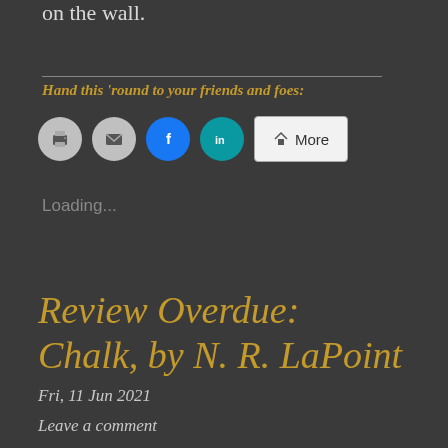on the wall.
Hand this 'round to your friends and foes:
[Figure (other): Social sharing buttons: print (gray circle), email (gray circle), Facebook (blue circle), LinkedIn (teal circle), More (white rounded rectangle button)]
Loading...
Review Overdue: Chalk, by N. R. LaPoint
Fri, 11 Jun 2021
Leave a comment